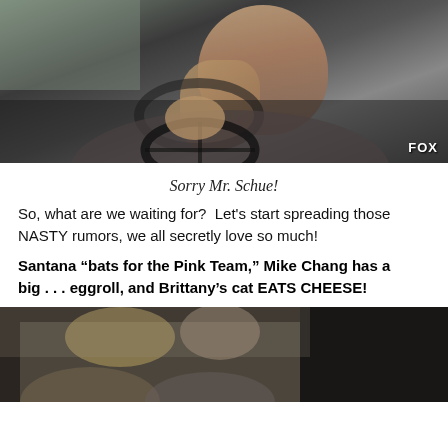[Figure (photo): A man crying while sitting in a car, gripping the steering wheel, with a FOX network watermark in the bottom right corner.]
Sorry Mr. Schue!
So, what are we waiting for?  Let's start spreading those NASTY rumors, we all secretly love so much!
Santana “bats for the Pink Team,” Mike Chang has a big . . . eggroll, and Brittany’s cat EATS CHEESE!
[Figure (photo): A group of people standing together, appearing to be from a TV show scene.]